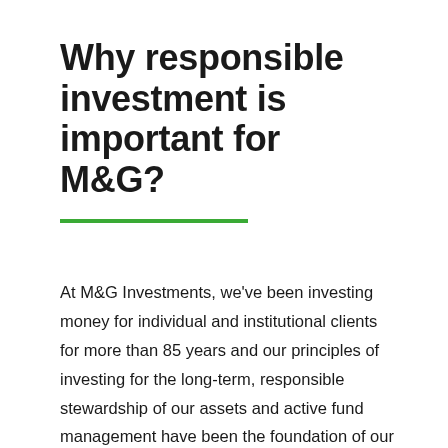Why responsible investment is important for M&G?
At M&G Investments, we've been investing money for individual and institutional clients for more than 85 years and our principles of investing for the long-term, responsible stewardship of our assets and active fund management have been the foundation of our approach throughout.